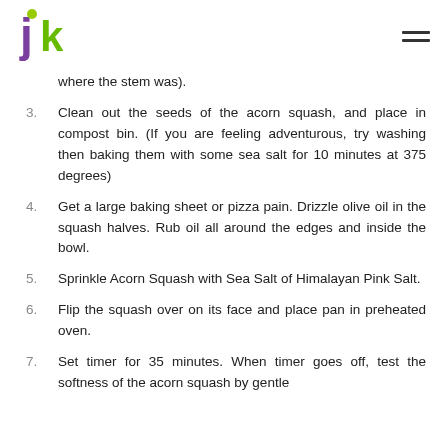JK logo and hamburger menu
where the stem was).
3. Clean out the seeds of the acorn squash, and place in compost bin. (If you are feeling adventurous, try washing then baking them with some sea salt for 10 minutes at 375 degrees)
4. Get a large baking sheet or pizza pain. Drizzle olive oil in the squash halves. Rub oil all around the edges and inside the bowl.
5. Sprinkle Acorn Squash with Sea Salt of Himalayan Pink Salt.
6. Flip the squash over on its face and place pan in preheated oven.
7. Set timer for 35 minutes. When timer goes off, test the softness of the acorn squash by gentle